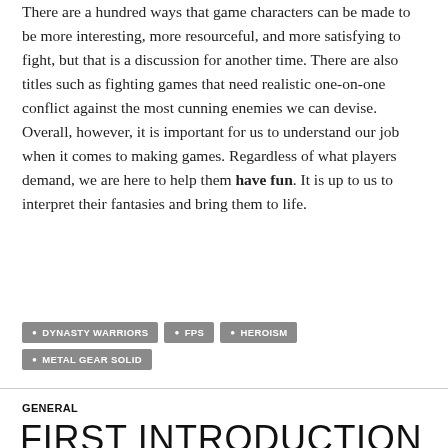There are a hundred ways that game characters can be made to be more interesting, more resourceful, and more satisfying to fight, but that is a discussion for another time. There are also titles such as fighting games that need realistic one-on-one conflict against the most cunning enemies we can devise. Overall, however, it is important for us to understand our job when it comes to making games. Regardless of what players demand, we are here to help them have fun. It is up to us to interpret their fantasies and bring them to life.
DYNASTY WARRIORS
FPS
HEROISM
METAL GEAR SOLID
GENERAL
FIRST INTRODUCTION